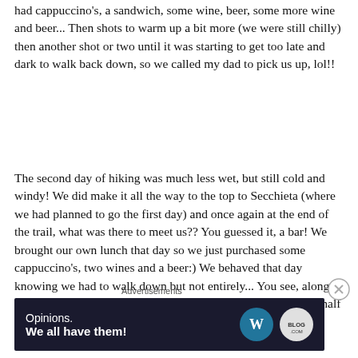had cappuccino's, a sandwich, some wine, beer, some more wine and beer... Then shots to warm up a bit more (we were still chilly) then another shot or two until it was starting to get too late and dark to walk back down, so we called my dad to pick us up, lol!!
The second day of hiking was much less wet, but still cold and windy!  We did make it all the way to the top to Secchieta (where we had planned to go the first day) and once again at the end of the trail, what was there to meet us??  You guessed it, a bar!  We brought our own lunch that day so we just purchased some cappuccino's, two wines and a beer:)  We behaved that day knowing we had to walk down but not entirely... You see, along with sandwiches for lunch, we also packed about a liter and a half of wine to sip along the way:) We did behave on drinking it however because we barely
Advertisements
[Figure (other): Advertisement banner with dark navy background, text 'Opinions. We all have them!' and WordPress and Blog.com logos on the right.]